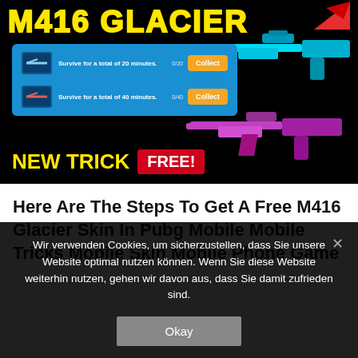[Figure (screenshot): PUBG Mobile M416 Glacier skin promotional thumbnail with 'M416 GLACIER' yellow title text, quest panel showing two missions ('Survive for a total of 20 minutes' and 'Survive for a total of 40 minutes') with Collect buttons, a cyan/blue glowing M416 gun and a pink/purple M416 gun, and 'NEW TRICK FREE!' banner at the bottom.]
Here Are The Steps To Get A Free M416 Glacier Skin In Pubg Mobile Mobile Tricks Mobile Skin Mobile Phone Game
Wir verwenden Cookies, um sicherzustellen, dass Sie unsere Website optimal nutzen können. Wenn Sie diese Website weiterhin nutzen, gehen wir davon aus, dass Sie damit zufrieden sind.
Okay